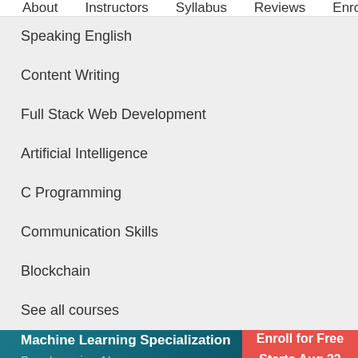About   Instructors   Syllabus   Reviews   Enrollment Opti
Speaking English
Content Writing
Full Stack Web Development
Artificial Intelligence
C Programming
Communication Skills
Blockchain
See all courses
Machine Learning Specialization
DeepLearning.AI
Enroll for Free
Starts Aug 22